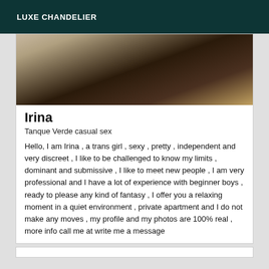LUXE CHANDELIER
[Figure (photo): Dark interior photo showing ceiling and floor area with warm tones]
Irina
Tanque Verde casual sex
Hello, I am Irina , a trans girl , sexy , pretty , independent and very discreet , I like to be challenged to know my limits , dominant and submissive , I like to meet new people , I am very professional and I have a lot of experience with beginner boys , ready to please any kind of fantasy , I offer you a relaxing moment in a quiet environment , private apartment and I do not make any moves , my profile and my photos are 100% real , more info call me at write me a message